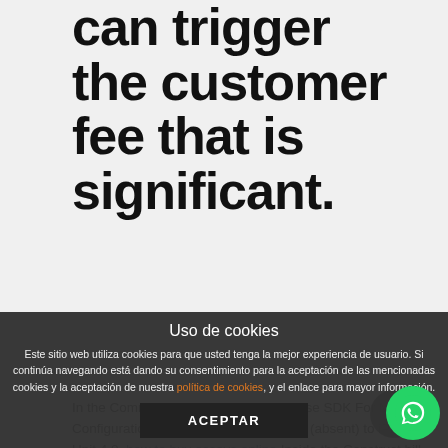can trigger the customer fee that is significant.
In the Common bill, adjust the Beds Base SDK For Many Configurations from iPhone Gadget 3.0 (absent) to iPhone Unit 4.0. how to buy essays online Inside the Construct bill, fixed the Setting to Release and enter a seek out target. You need to now see the following: Inside the Structure section, the Base SDK location is currently iPhone Gadget 4.0, meaning Xcode can build your app with all the iOS 4.0 SDK. Within the Implementation segment, you are going to see iPhone OS
Uso de cookies
Este sitio web utiliza cookies para que usted tenga la mejor experiencia de usuario. Si continúa navegando está dando su consentimiento para la aceptación de las mencionadas cookies y la aceptación de nuestra política de cookies, y el enlace para mayor información.
ACEPTAR